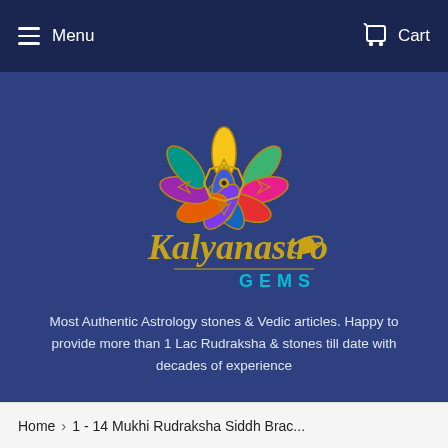Menu  Cart
[Figure (logo): Kalyanastro Gems logo with colorful mandala flower petals (green, red, purple, blue, orange, pink, yellow) and cursive gold text 'Kalyanastro' with 'GEMS' below in teal letters]
Most Authentic Astrology stones & Vedic articles. Happy to provide more than 1 Lac Rudraksha & stones till date with decades of experience
Home › 1 - 14 Mukhi Rudraksha Siddh Brac...